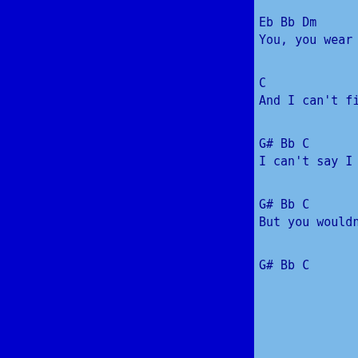Eb Bb Dm
You, you wear m
C
And I can't fig
G# Bb C
I can't say I l
G# Bb C
But you wouldn'
G# Bb C